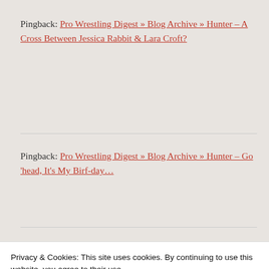Pingback: Pro Wrestling Digest » Blog Archive » Hunter – A Cross Between Jessica Rabbit & Lara Croft?
Pingback: Pro Wrestling Digest » Blog Archive » Hunter – Go 'head, It's My Birf-day...
Troy Palmiter
Privacy & Cookies: This site uses cookies. By continuing to use this website, you agree to their use.
To find out more, including how to control cookies, see here:
Cookie Policy
Close and accept
person could be so loving and in a heartbeat be